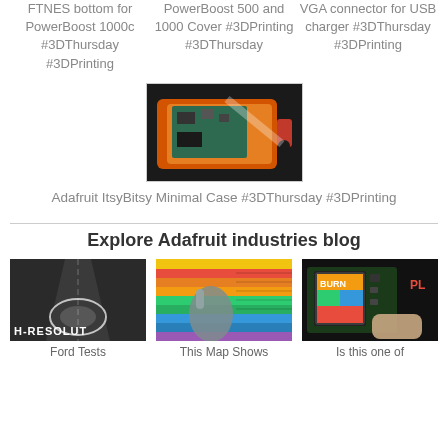FTNES bottom for PowerBoost 1000c #3DThursday #3DPrinting
PowerBoost 500 and 1000 Cover #3DPrinting #3DThursday
VGA connector for USB charger #3DThursday #3DPrinting
[Figure (photo): Photo of an orange 3D printed case with a circuit board (Adafruit ItsyBitsy) inside it]
Adafruit ItsyBitsy Minimal Case #3DThursday #3DPrinting
Explore Adafruit industries blog
[Figure (photo): Dark road with glowing circular light projection on pavement, text H-RESOLUT visible]
Ford Tests
[Figure (photo): Colorful rainbow striped map with a hand pointing at it]
This Map Shows
[Figure (photo): Circuit board with a small color display showing a bright image, red PL text visible]
Is this one of